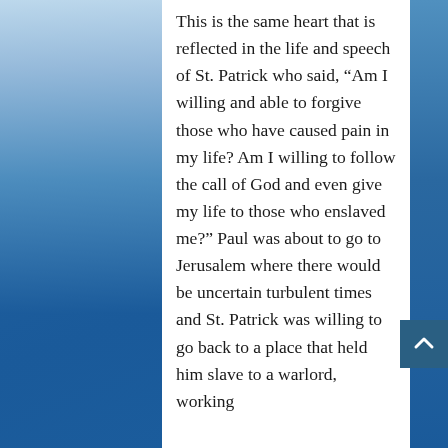This is the same heart that is reflected in the life and speech of St. Patrick who said, “Am I willing and able to forgive those who have caused pain in my life? Am I willing to follow the call of God and even give my life to those who enslaved me?” Paul was about to go to Jerusalem where there would be uncertain turbulent times and St. Patrick was willing to go back to a place that held him slave to a warlord, working